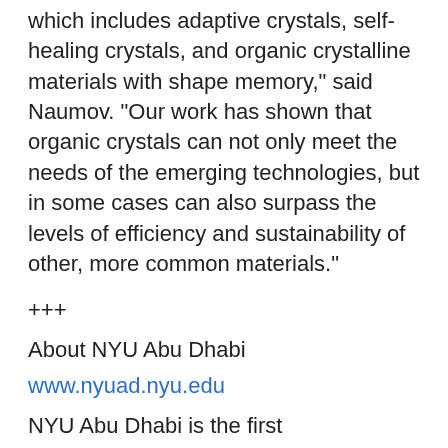which includes adaptive crystals, self-healing crystals, and organic crystalline materials with shape memory," said Naumov. "Our work has shown that organic crystals can not only meet the needs of the emerging technologies, but in some cases can also surpass the levels of efficiency and sustainability of other, more common materials."
+++
About NYU Abu Dhabi
www.nyuad.nyu.edu
NYU Abu Dhabi is the first comprehensive liberal arts and research campus in the